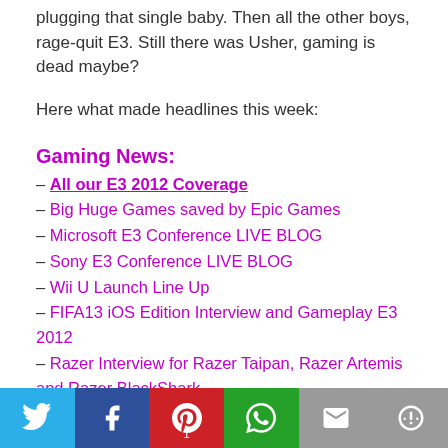plugging that single baby. Then all the other boys, rage-quit E3. Still there was Usher, gaming is dead maybe?
Here what made headlines this week:
Gaming News:
– All our E3 2012 Coverage
– Big Huge Games saved by Epic Games
– Microsoft E3 Conference LIVE BLOG
– Sony E3 Conference LIVE BLOG
– Wii U Launch Line Up
– FIFA13 iOS Edition Interview and Gameplay E3 2012
– Razer Interview for Razer Taipan, Razer Artemis and Razer BlackShark
– God of War Ascension Gameplay and Commentary with Luis Sanchez